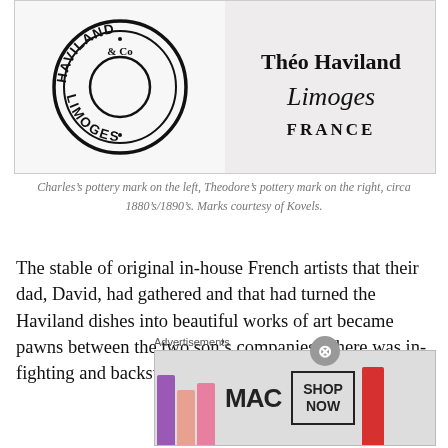[Figure (illustration): Two pottery marks side by side. Left: circular stamp reading HAVILAND & Co LIMOGES. Right: handwritten-style mark reading Théo Haviland Limoges FRANCE.]
Charles's pottery mark on the left, Theodore's pottery mark on the right, circa 1880's/1890's. Marks courtesy of Kovels.
The stable of original in-house French artists that their dad, David, had gathered and that had turned the Haviland dishes into beautiful works of art became pawns between the two son's companies. There was in-fighting and backstabbing. The brothers competed with